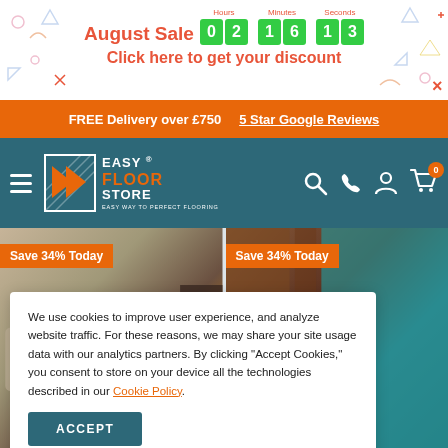August Sale  Hours 02  Minutes 16  Seconds 13
Click here to get your discount
FREE Delivery over £750   5 Star Google Reviews
[Figure (logo): Easy Floor Store logo with orange E chevron icon and teal navigation bar with hamburger menu, search, phone, account and cart icons]
[Figure (photo): Living room interior with sofa, decorative vases, wicker baskets and fireplace. Save 34% Today badge.]
[Figure (photo): Wooden/rustic interior with teal accent. Save 34% Today badge.]
We use cookies to improve user experience, and analyze website traffic. For these reasons, we may share your site usage data with our analytics partners. By clicking "Accept Cookies," you consent to store on your device all the technologies described in our Cookie Policy.